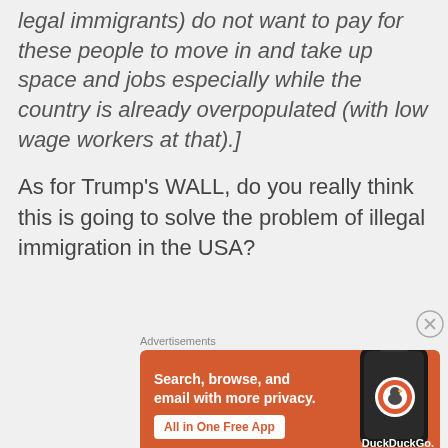legal immigrants) do not want to pay for these people to move in and take up space and jobs especially while the country is already overpopulated (with low wage workers at that).]
As for Trump’s WALL, do you really think this is going to solve the problem of illegal immigration in the USA?
[Figure (screenshot): DuckDuckGo advertisement banner: orange background with white text 'Search, browse, and email with more privacy. All in One Free App' and a phone image showing DuckDuckGo logo]
Advertisements